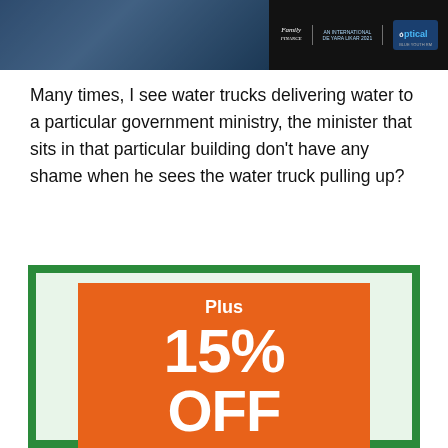[Figure (photo): Top banner image showing a person in a blue shirt with logos including 'Family', an international flag logo, and 'optical' brand on dark background]
Many times, I see water trucks delivering water to a particular government ministry, the minister that sits in that particular building don't have any shame when he sees the water truck pulling up?
[Figure (infographic): Advertisement with green border and light mint background showing orange rectangle with white text: 'Plus 15% OFF Small Domestic Appliances']